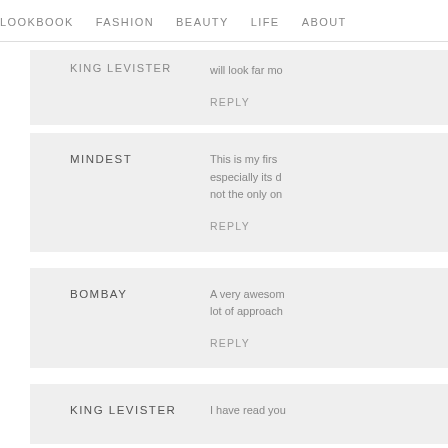LOOKBOOK  FASHION  BEAUTY  LIFE  ABOUT
KING LEVISTER — will look far mo…
REPLY
MINDEST — This is my firs… especially its d… not the only on…
REPLY
BOMBAY — A very awesom… lot of approach…
REPLY
KING LEVISTER — I have read you…